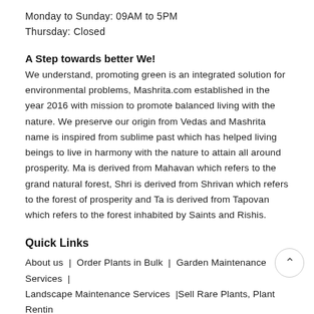Monday to Sunday: 09AM to 5PM
Thursday: Closed
A Step towards better We!
We understand, promoting green is an integrated solution for environmental problems, Mashrita.com established in the year 2016 with mission to promote balanced living with the nature. We preserve our origin from Vedas and Mashrita name is inspired from sublime past which has helped living beings to live in harmony with the nature to attain all around prosperity. Ma is derived from Mahavan which refers to the grand natural forest, Shri is derived from Shrivan which refers to the forest of prosperity and Ta is derived from Tapovan which refers to the forest inhabited by Saints and Rishis.
Quick Links
About us | Order Plants in Bulk | Garden Maintenance Services | Landscape Maintenance Services | Sell Rare Plants, Plant Renting Services | Plant Exhibition Service | Concept Garden | Carpet | Cancellation | Privacy | Shipping | Terms | Disclaimer